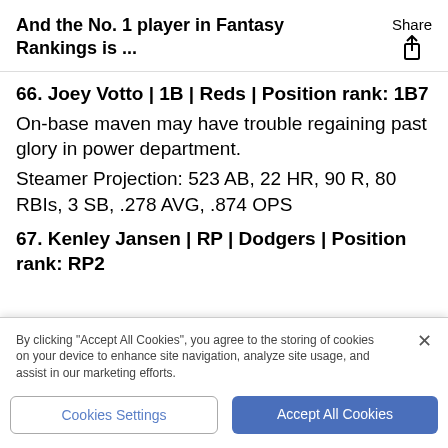And the No. 1 player in Fantasy Rankings is ...
66. Joey Votto | 1B | Reds | Position rank: 1B7
On-base maven may have trouble regaining past glory in power department.
Steamer Projection: 523 AB, 22 HR, 90 R, 80 RBIs, 3 SB, .278 AVG, .874 OPS
67. Kenley Jansen | RP | Dodgers | Position rank: RP2
By clicking "Accept All Cookies", you agree to the storing of cookies on your device to enhance site navigation, analyze site usage, and assist in our marketing efforts.